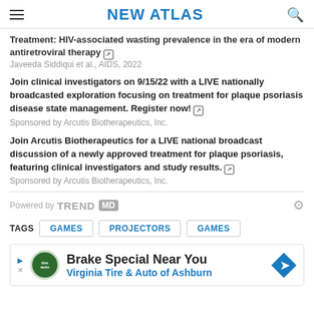NEW ATLAS
Treatment: HIV-associated wasting prevalence in the era of modern antiretroviral therapy
Javeeda Siddiqui et al., AIDS, 2022
Join clinical investigators on 9/15/22 with a LIVE nationally broadcasted exploration focusing on treatment for plaque psoriasis disease state management. Register now!
Sponsored by Arcutis Biotherapeutics, Inc.
Join Arcutis Biotherapeutics for a LIVE national broadcast discussion of a newly approved treatment for plaque psoriasis, featuring clinical investigators and study results.
Sponsored by Arcutis Biotherapeutics, Inc.
Powered by TREND MD
GAMES
PROJECTORS
GAMES
[Figure (infographic): Advertisement banner: Brake Special Near You - Virginia Tire & Auto of Ashburn]